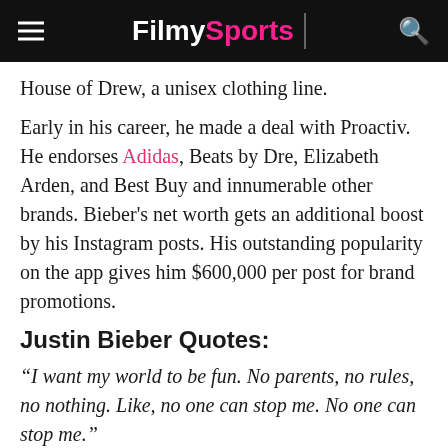Filmy Sports
House of Drew, a unisex clothing line.
Early in his career, he made a deal with Proactiv. He endorses Adidas, Beats by Dre, Elizabeth Arden, and Best Buy and innumerable other brands. Bieber’s net worth gets an additional boost by his Instagram posts. His outstanding popularity on the app gives him $600,000 per post for brand promotions.
Justin Bieber Quotes:
“I want my world to be fun. No parents, no rules, no nothing. Like, no one can stop me. No one can stop me.”